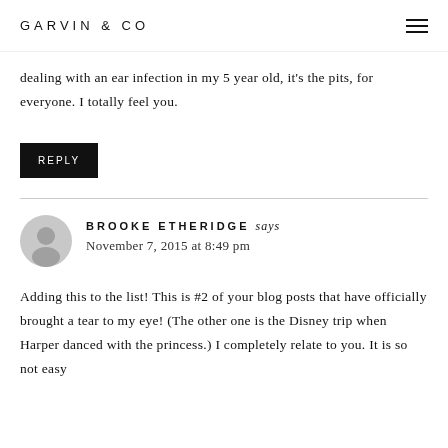GARVIN & CO
dealing with an ear infection in my 5 year old, it's the pits, for everyone. I totally feel you.
REPLY
BROOKE ETHERIDGE says
November 7, 2015 at 8:49 pm
Adding this to the list! This is #2 of your blog posts that have officially brought a tear to my eye! (The other one is the Disney trip when Harper danced with the princess.) I completely relate to you. It is so not easy